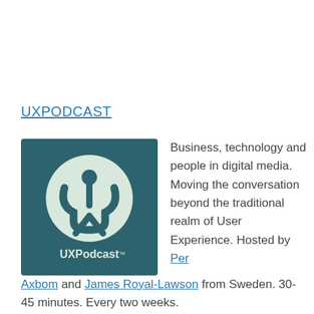UXPODCAST
[Figure (logo): UXPodcast logo: dark teal square with a circular light-colored emblem showing a stylized person/UX icon and the text 'UXPodcast']
Business, technology and people in digital media. Moving the conversation beyond the traditional realm of User Experience. Hosted by Per Axbom and James Royal-Lawson from Sweden. 30-45 minutes. Every two weeks.